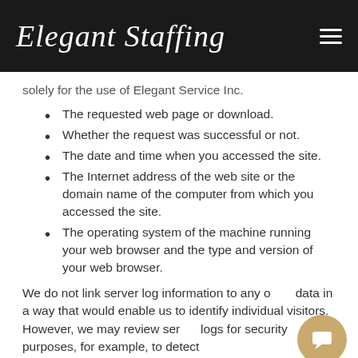Elegant Staffing
solely for the use of Elegant Service Inc.
The requested web page or download.
Whether the request was successful or not.
The date and time when you accessed the site.
The Internet address of the web site or the domain name of the computer from which you accessed the site.
The operating system of the machine running your web browser and the type and version of your web browser.
We do not link server log information to any other data in a way that would enable us to identify individual visitors. However, we may review server logs for security purposes, for example, to detect